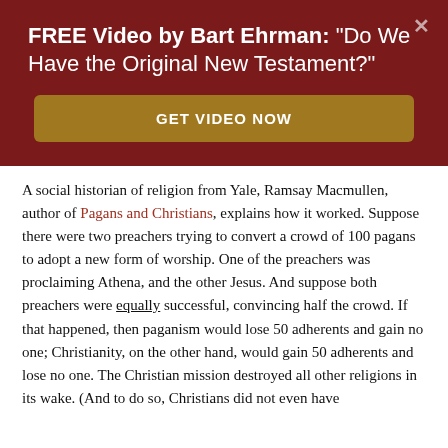FREE Video by Bart Ehrman: "Do We Have the Original New Testament?"
GET VIDEO NOW
A social historian of religion from Yale, Ramsay Macmullen, author of Pagans and Christians, explains how it worked.  Suppose there were two preachers trying to convert a crowd of 100 pagans to adopt a new form of worship.   One of the preachers was proclaiming Athena, and the other Jesus.   And suppose both preachers were equally successful, convincing half the crowd.  If that happened, then paganism would lose 50 adherents and gain no one; Christianity, on the other hand, would gain 50 adherents and lose no one.  The Christian mission destroyed all other religions in its wake.    (And to do so, Christians did not even have to be equally as strong as all other faiths